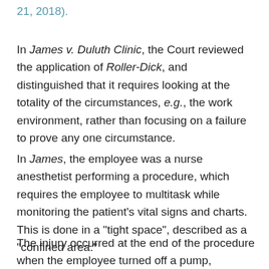21, 2018).
In James v. Duluth Clinic, the Court reviewed the application of Roller-Dick, and distinguished that it requires looking at the totality of the circumstances, e.g., the work environment, rather than focusing on a failure to prove any one circumstance.
In James, the employee was a nurse anesthetist performing a procedure, which requires the employee to multitask while monitoring the patient’s vital signs and charts. This is done in a “tight space”, described as a “confined area.”
The injury occurred at the end of the procedure when the employee turned off a pump, observed the patient, then